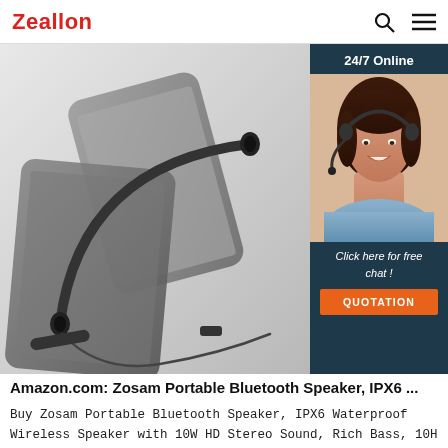Zeallon
[Figure (photo): Product photo: neckband Bluetooth earphones/headset placed on top of smartphones. Dark gray earphones with cable, resting on phone screens including an iPhone.]
[Figure (infographic): Sidebar widget: 24/7 Online support with photo of female customer service agent wearing headset. Button text: 'Click here for free chat!' and 'QUOTATION' button in orange.]
Amazon.com: Zosam Portable Bluetooth Speaker, IPX6 ...
Buy Zosam Portable Bluetooth Speaker, IPX6 Waterproof Wireless Speaker with 10W HD Stereo Sound, Rich Bass, 10H Playtime, Built-in Mic and AUX/SD Input for Shower, Pool, Outdoor, Travel: